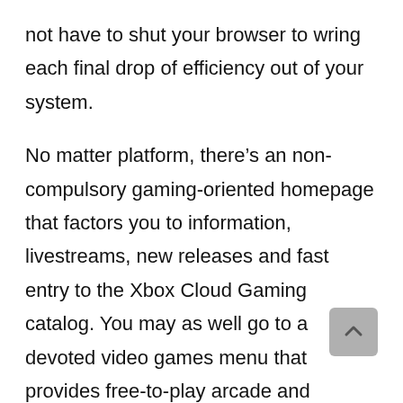not have to shut your browser to wring each final drop of efficiency out of your system.
No matter platform, there’s an non-compulsory gaming-oriented homepage that factors you to information, livestreams, new releases and fast entry to the Xbox Cloud Gaming catalog. You may as well go to a devoted video games menu that provides free-to-play arcade and informal titles to maintain you entertained throughout uneventful conferences.
This is not the primary browser constructed for players. Opera GX launched three years in the past with related